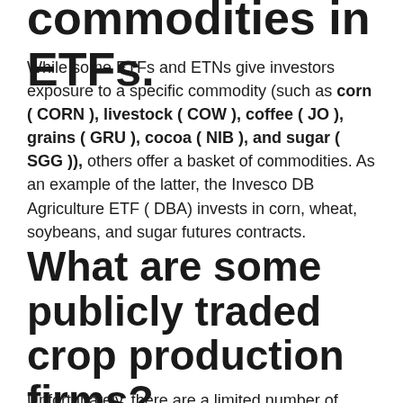commodities in ETFs.
While some ETFs and ETNs give investors exposure to a specific commodity (such as corn ( CORN ), livestock ( COW ), coffee ( JO ), grains ( GRU ), cocoa ( NIB ), and sugar ( SGG )), others offer a basket of commodities. As an example of the latter, the Invesco DB Agriculture ETF ( DBA) invests in corn, wheat, soybeans, and sugar futures contracts.
What are some publicly traded crop production firms?
Unfortunately, there are a limited number of